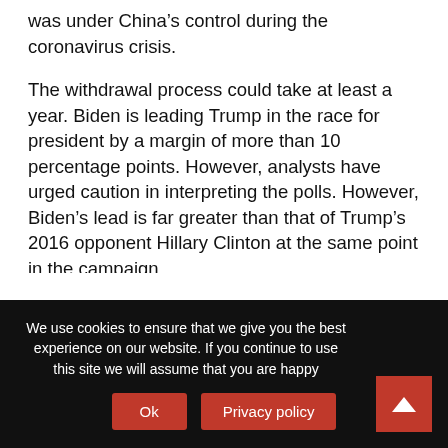was under China's control during the coronavirus crisis.
The withdrawal process could take at least a year. Biden is leading Trump in the race for president by a margin of more than 10 percentage points. However, analysts have urged caution in interpreting the polls. However, Biden's lead is far greater than that of Trump's 2016 opponent Hillary Clinton at the same point in the campaign.
The majority of the voters are concerned with the administration's handling of the pandemic and its economic fallout. US has almost three million
We use cookies to ensure that we give you the best experience on our website. If you continue to use this site we will assume that you are happy
Ok
Privacy policy